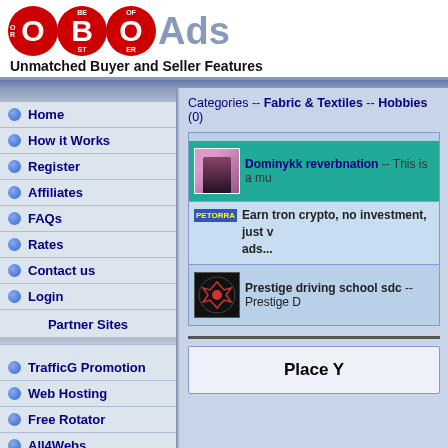[Figure (logo): OBO Ads logo with red circles for O, B, O letters and grey 'Ads' text, with tagline 'Unmatched Buyer and Seller Features']
Home
How it Works
Register
Affiliates
FAQs
Rates
Contact us
Login
Partner Sites
TrafficG Promotion
Web Hosting
Free Rotator
All4Webs
Categories -- Fabric & Textiles -- Hobbies (0)
Dominykk reverbnation -- This is a mu
Earn tron crypto, no investment, just v ads...
Prestige driving school sdc -- Prestige D
Place Y